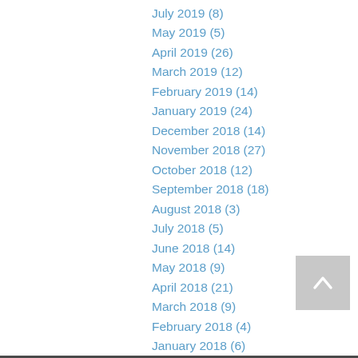July 2019 (8)
May 2019 (5)
April 2019 (26)
March 2019 (12)
February 2019 (14)
January 2019 (24)
December 2018 (14)
November 2018 (27)
October 2018 (12)
September 2018 (18)
August 2018 (3)
July 2018 (5)
June 2018 (14)
May 2018 (9)
April 2018 (21)
March 2018 (9)
February 2018 (4)
January 2018 (6)